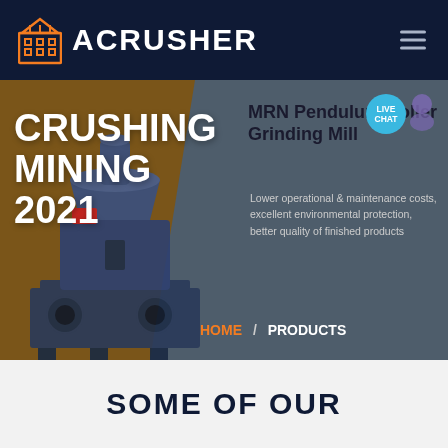ACRUSHER
[Figure (screenshot): ACRUSHER website hero banner showing a mining crusher machine on left brown panel, product info on right grey panel, with CRUSHING MINING 2021 title text overlaid]
CRUSHING MINING 2021
MRN Pendulum Roller Grinding Mill
Lower operational & maintenance costs, excellent environmental protection, better quality of finished products
HOME / PRODUCTS
SOME OF OUR